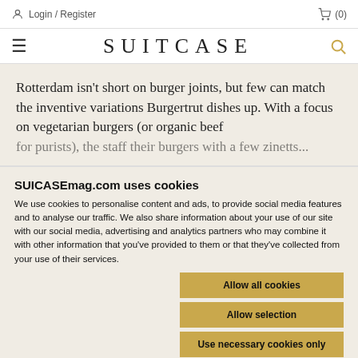Login / Register   (0)
SUITCASE
Rotterdam isn't short on burger joints, but few can match the inventive variations Burgertrut dishes up. With a focus on vegetarian burgers (or organic beef for purists), the staff their burgers with a few zingers...
SUICASEmag.com uses cookies
We use cookies to personalise content and ads, to provide social media features and to analyse our traffic. We also share information about your use of our site with our social media, advertising and analytics partners who may combine it with other information that you've provided to them or that they've collected from your use of their services.
Allow all cookies
Allow selection
Use necessary cookies only
Necessary   Preferences   Statistics   Marketing   Show details